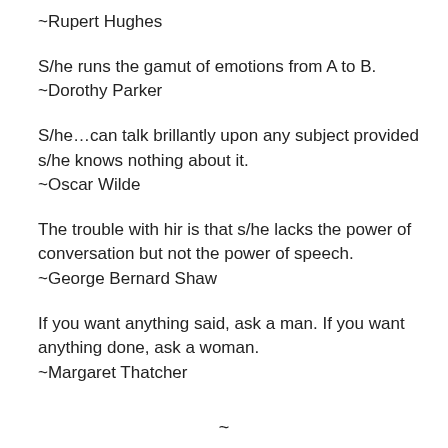~Rupert Hughes
S/he runs the gamut of emotions from A to B.
~Dorothy Parker
S/he…can talk brillantly upon any subject provided s/he knows nothing about it.
~Oscar Wilde
The trouble with hir is that s/he lacks the power of conversation but not the power of speech.
~George Bernard Shaw
If you want anything said, ask a man. If you want anything done, ask a woman.
~Margaret Thatcher
~